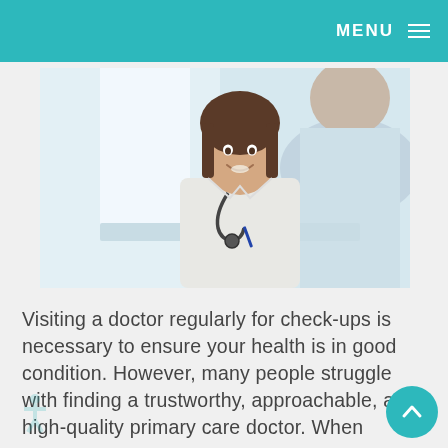MENU ≡
[Figure (photo): A smiling female doctor in a white coat with a stethoscope sitting across from a patient (seen from behind) at a desk in a bright medical office.]
Visiting a doctor regularly for check-ups is necessary to ensure your health is in good condition. However, many people struggle with finding a trustworthy, approachable, and high-quality primary care doctor. When